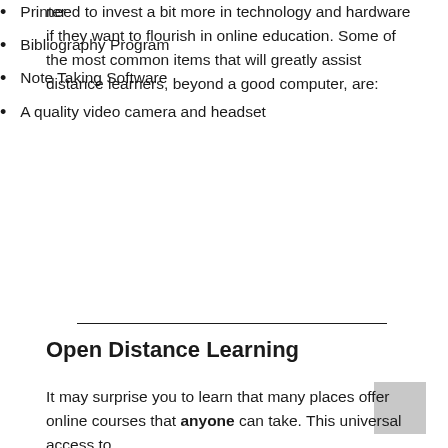need to invest a bit more in technology and hardware if they want to flourish in online education. Some of the most common items that will greatly assist distance learners, beyond a good computer, are:
Printer
Bibliography Program
Note Taking Software
A quality video camera and headset
Open Distance Learning
It may surprise you to learn that many places offer online courses that anyone can take. This universal access to